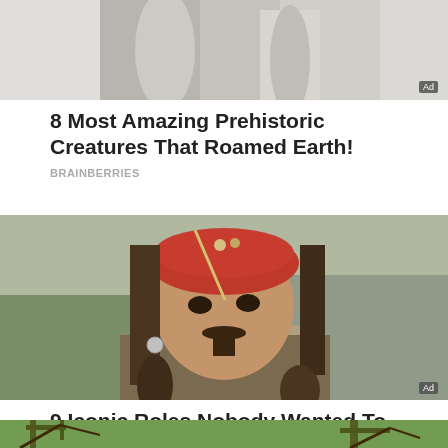[Figure (photo): Partial view of a figure in gray/white clothing, top of the page, cropped advertisement image]
8 Most Amazing Prehistoric Creatures That Roamed Earth!
BRAINBERRIES
[Figure (photo): A man dressed as Jack Sparrow from Pirates of the Caribbean, wearing a red bandana, dreadlocks, looking intensely at the camera. An 'Ad' badge is in the bottom-right corner.]
9 Iconic Roles Nobody Wanted To Play
BRAINBERRIES
[Figure (photo): Partial bottom image strip showing trees/branches against a bright sky, cropped at bottom of page]